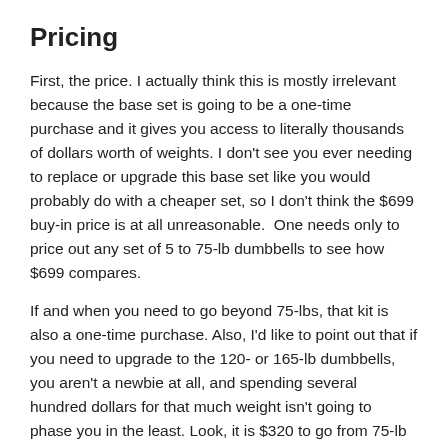Pricing
First, the price. I actually think this is mostly irrelevant because the base set is going to be a one-time purchase and it gives you access to literally thousands of dollars worth of weights. I don't see you ever needing to replace or upgrade this base set like you would probably do with a cheaper set, so I don't think the $699 buy-in price is at all unreasonable.  One needs only to price out any set of 5 to 75-lb dumbbells to see how $699 compares.
If and when you need to go beyond 75-lbs, that kit is also a one-time purchase. Also, I'd like to point out that if you need to upgrade to the 120- or 165-lb dumbbells, you aren't a newbie at all, and spending several hundred dollars for that much weight isn't going to phase you in the least. Look, it is $320 to go from 75-lb handles to 120-lb handles. A single pair of 120-lb dumbbells is $300 before shipping. That's just the 120s!
No, I only list the pricing as a negative because $699 + $159 may